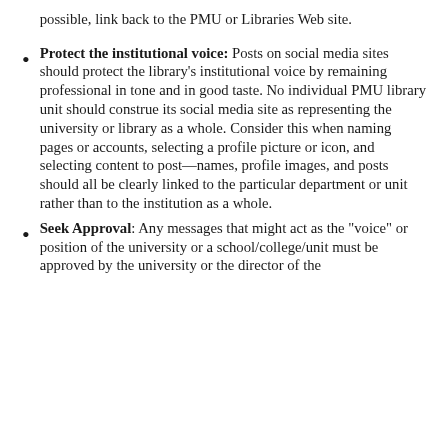possible, link back to the PMU or Libraries Web site.
Protect the institutional voice: Posts on social media sites should protect the library's institutional voice by remaining professional in tone and in good taste. No individual PMU library unit should construe its social media site as representing the university or library as a whole. Consider this when naming pages or accounts, selecting a profile picture or icon, and selecting content to post—names, profile images, and posts should all be clearly linked to the particular department or unit rather than to the institution as a whole.
Seek Approval: Any messages that might act as the "voice" or position of the university or a school/college/unit must be approved by the university or the director of the